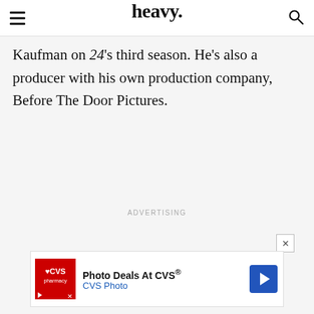heavy.
Kaufman on 24's third season. He's also a producer with his own production company, Before The Door Pictures.
ADVERTISING
[Figure (other): CVS Pharmacy advertisement banner: 'Photo Deals At CVS® CVS Photo' with CVS logo and blue arrow icon]